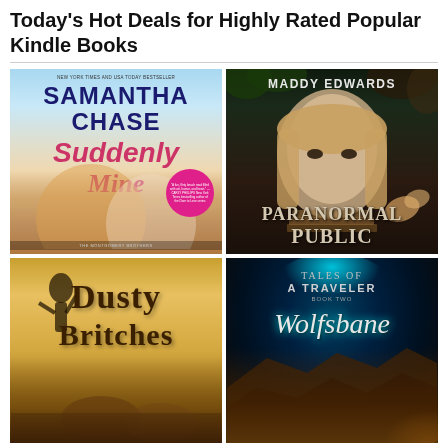Today's Hot Deals for Highly Rated Popular Kindle Books
[Figure (illustration): Book cover: Suddenly Mine by Samantha Chase. Romance novel cover with couple on beach, blue sky background. New York Times and USA Today Bestseller.]
[Figure (illustration): Book cover: Paranormal Public by Maddy Edwards. Dark fantasy cover with young woman's face surrounded by dark foliage and butterfly imagery.]
[Figure (illustration): Book cover: Dusty Britches. Western genre cover with golden-brown tones, title in large serif font, figure on horseback.]
[Figure (illustration): Book cover: Tales of a Traveler Book Two - Wolfsbane. Dark fantasy cover with teal/turquoise accent light, script title against dark atmospheric background.]